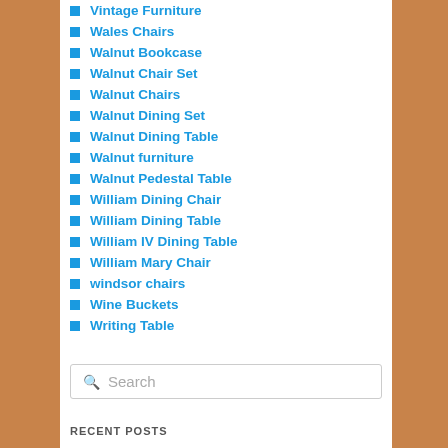Vintage Furniture
Wales Chairs
Walnut Bookcase
Walnut Chair Set
Walnut Chairs
Walnut Dining Set
Walnut Dining Table
Walnut furniture
Walnut Pedestal Table
William Dining Chair
William Dining Table
William IV Dining Table
William Mary Chair
windsor chairs
Wine Buckets
Writing Table
Search
RECENT POSTS